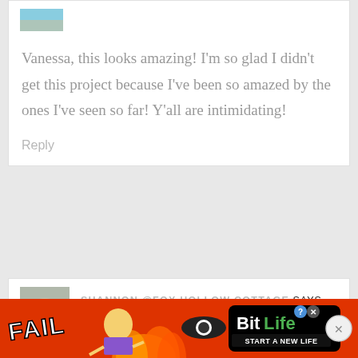[Figure (photo): Partial avatar image at top of comment block]
Vanessa, this looks amazing! I'm so glad I didn't get this project because I've been so amazed by the ones I've seen so far! Y'all are intimidating!
Reply
[Figure (photo): Avatar photo of Shannon, showing back of head with gray hair updo]
SHANNON @FOX HOLLOW COTTAGE SAYS
[Figure (infographic): BitLife advertisement banner with FAIL text, cartoon character, flame graphics, BitLife logo, and START A NEW LIFE tagline]